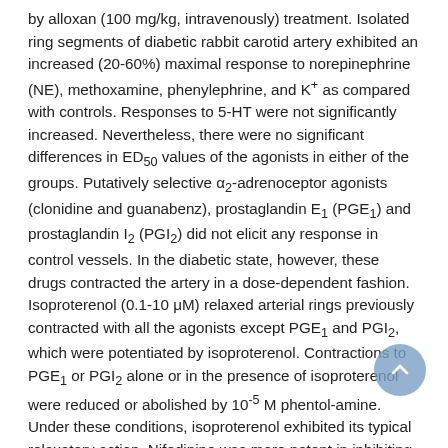by alloxan (100 mg/kg, intravenously) treatment. Isolated ring segments of diabetic rabbit carotid artery exhibited an increased (20-60%) maximal response to norepinephrine (NE), methoxamine, phenylephrine, and K⁺ as compared with controls. Responses to 5-HT were not significantly increased. Nevertheless, there were no significant differences in ED₅₀ values of the agonists in either of the groups. Putatively selective α₂-adrenoceptor agonists (clonidine and guanabenz), prostaglandin E₁ (PGE₁) and prostaglandin I₂ (PGI₂) did not elicit any response in control vessels. In the diabetic state, however, these drugs contracted the artery in a dose-dependent fashion. Isoproterenol (0.1-10 μM) relaxed arterial rings previously contracted with all the agonists except PGE₁ and PGI₂, which were potentiated by isoproterenol. Contractions to PGE₁ or PGI₂ alone or in the presence of isoproterenol were reduced or abolished by 10⁻⁵ M phentol-amine. Under these conditions, isoproterenol exhibited its typical relaxatory action. Nifedipine was more potent in inhibiting the K⁺ response in diabetic carotid artery than in the controls. These results suggest an increased reactivity of diabetic rabbit carotid artery to (α₂-adrenoceptor agonists, K⁺, PGE₁, and PGI₂ which may, at least in part, be due to an increased sensitivity of calcium channels in diabetic vessels. Contractile responses to PGE₁ and